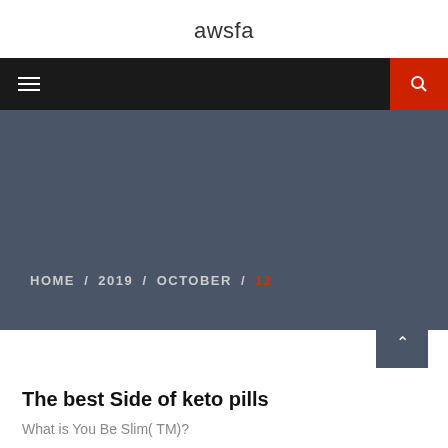awsfa
[Figure (screenshot): Navigation bar with hamburger menu icon on left and red search button on right]
[Figure (screenshot): Dark blue-grey hero banner with breadcrumb navigation showing HOME / 2019 / OCTOBER / 12 where 12 is in red]
The best Side of keto pills
What is You Be Slim( TM)?